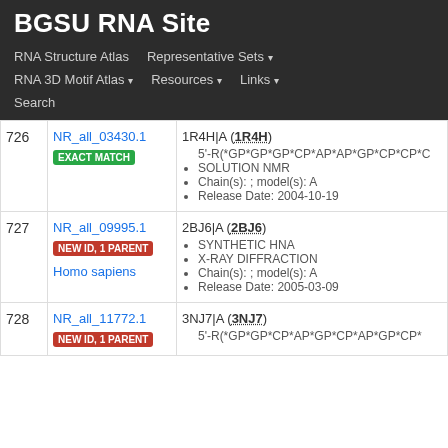BGSU RNA Site
RNA Structure Atlas | Representative Sets ▾ | RNA 3D Motif Atlas ▾ | Resources ▾ | Links ▾ | Search
| # | ID | Info |
| --- | --- | --- |
| 726 | NR_all_03430.1 EXACT MATCH | 1R4H|A (1R4H)
• 5'-R(*GP*GP*GP*CP*AP*AP*GP*CP*CP*C…
• SOLUTION NMR
• Chain(s): ; model(s): A
• Release Date: 2004-10-19 |
| 727 | NR_all_09995.1 NEW ID, 1 PARENT Homo sapiens | 2BJ6|A (2BJ6)
• SYNTHETIC HNA
• X-RAY DIFFRACTION
• Chain(s): ; model(s): A
• Release Date: 2005-03-09 |
| 728 | NR_all_11772.1 NEW ID, 1 PARENT | 3NJ7|A (3NJ7)
• 5'-R(*GP*GP*CP*AP*GP*CP*AP*GP*CP*… |